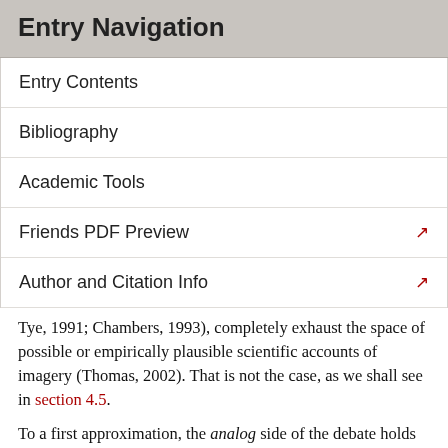Entry Navigation
Entry Contents
Bibliography
Academic Tools
Friends PDF Preview
Author and Citation Info
Tye, 1991; Chambers, 1993), completely exhaust the space of possible or empirically plausible scientific accounts of imagery (Thomas, 2002). That is not the case, as we shall see in section 4.5.
To a first approximation, the analog side of the debate holds that the mental representations that we experience as imagery are, in some important sense, like pictures, with intrinsically spatial representational properties of the sort that pictures have (i.e., pictures do not just represent spatial relationships between the objects they depict, but represent those relationships, at least in part, via actual